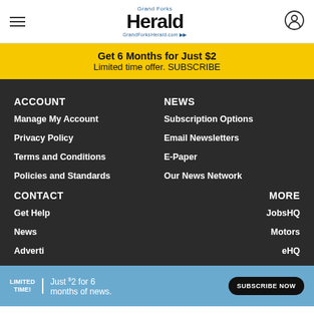Grand Forks Herald — GrandForksHerald.com
Get 6 Months for Just $2 — Limited time offer. SUBSCRIBE
ACCOUNT
Manage My Account
Privacy Policy
Terms and Conditions
Policies and Standards
NEWS
Subscription Options
Email Newsletters
E-Paper
Our News Network
CONTACT
Get Help
News
Advertising
Work with us
MORE
JobsHQ
Motors
eHQ
LIMITED TIME! Just $2 for 6 months of news. SUBSCRIBE NOW